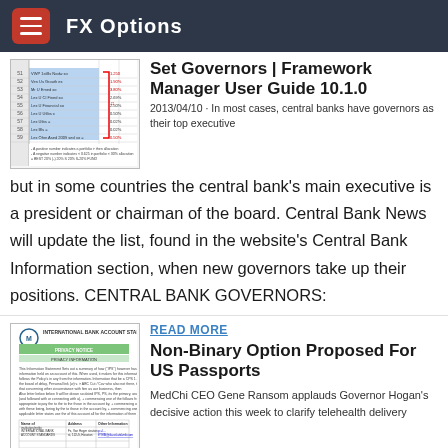FX Options
[Figure (screenshot): Thumbnail screenshot of a spreadsheet/table with numerical data and a red bracket annotation]
Set Governors | Framework Manager User Guide 10.1.0
2013/04/10 · In most cases, central banks have governors as their top executive but in some countries the central bank's main executive is a president or chairman of the board. Central Bank News will update the list, found in the website's Central Bank Information section, when new governors take up their positions. CENTRAL BANK GOVERNORS:
READ MORE
[Figure (screenshot): Thumbnail screenshot of a document with INTERNATIONAL BANK ACCOUNT STANDARDS header, green banner, text content, and a table]
Non-Binary Option Proposed For US Passports
MedChi CEO Gene Ransom applauds Governor Hogan's decisive action this week to clarify telehealth delivery